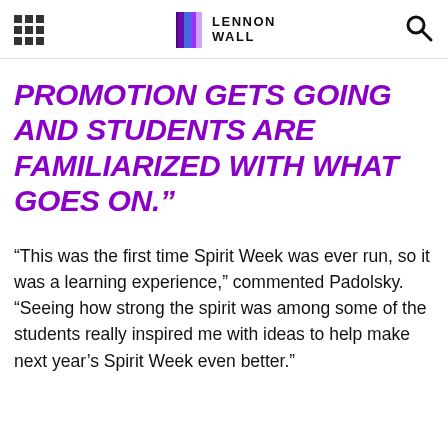LENNON WALL
PROMOTION GETS GOING AND STUDENTS ARE FAMILIARIZED WITH WHAT GOES ON.”
“This was the first time Spirit Week was ever run, so it was a learning experience,” commented Padolsky. “Seeing how strong the spirit was among some of the students really inspired me with ideas to help make next year’s Spirit Week even better.”